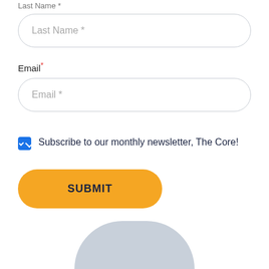Last Name *
Last Name *
Email*
Email *
Subscribe to our monthly newsletter, The Core!
SUBMIT
[Figure (illustration): Partial grey circle/arc visible at bottom of page]